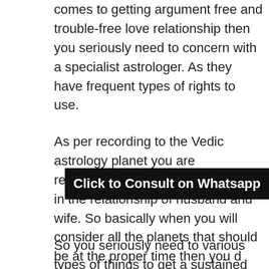comes to getting argument free and trouble-free love relationship then you seriously need to concern with a specialist astrologer. As they have frequent types of rights to use.
As per recording to the Vedic astrology planet you are responsible for maintaining stability in the relationship of husband and wife. So basically when you will consider all the planets that should be at the proper time then you d… complications in your love life. You can say that to get a sustained, happy and joyful life. Even you do not need to take worry about your relationship so much as there are numerous couples and make their relationship so healthy.
Click to Consult on Whatsapp
So you seriously need to various types of things to get a sustained relationship with your partner like